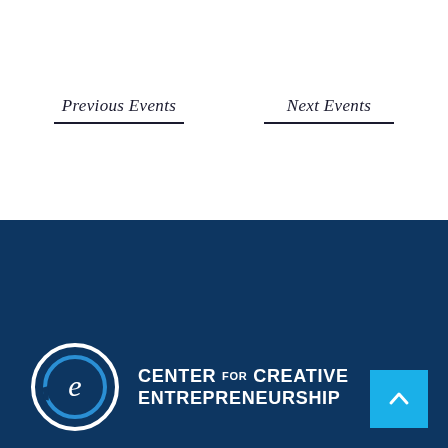Previous Events
Next Events
[Figure (logo): Center for Creative Entrepreneurship logo with circular 'e' icon on dark navy background]